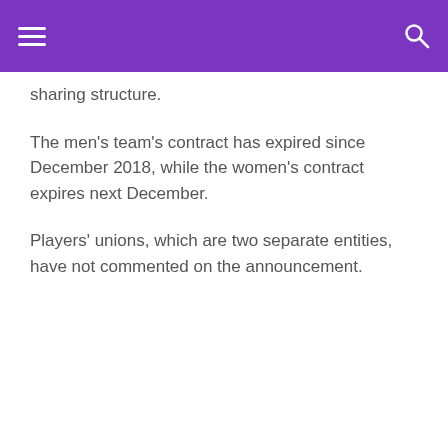[hamburger menu] [search icon]
sharing structure.
The men's team's contract has expired since December 2018, while the women's contract expires next December.
Players' unions, which are two separate entities, have not commented on the announcement.